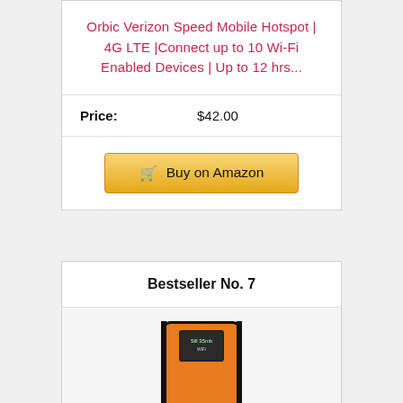Orbic Verizon Speed Mobile Hotspot | 4G LTE |Connect up to 10 Wi-Fi Enabled Devices | Up to 12 hrs...
| Price: | $42.00 |
Buy on Amazon
Bestseller No. 7
[Figure (photo): Orange mobile hotspot device with small display screen on the back, brand name Kuwfi visible]